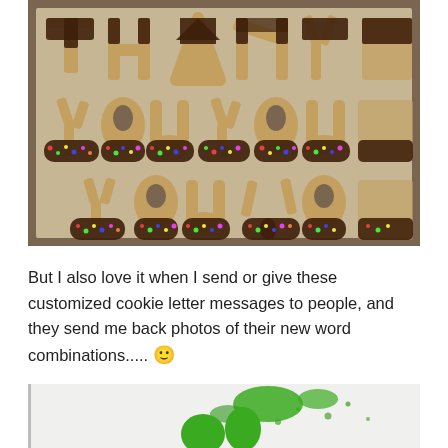[Figure (photo): Photo of letter-shaped cookies spelling 'THANK YOU' arranged on a baking tray with parchment paper. The cookies are golden-brown shortbread letters, half-dipped in dark chocolate and sprinkles (rainbow nonpareils) on the bottom halves. Three rows visible: top row shows 'THANK', second row shows 'youyou', third row shows 'youyo'. The cookies are large and clearly handmade.]
But I also love it when I send or give these customized cookie letter messages to people, and they send me back photos of their new word combinations..... 🙂
[Figure (photo): Partial photo at the bottom showing what appears to be green-colored cookie or food item on a white surface, with green crumbs/sprinkles scattered around.]